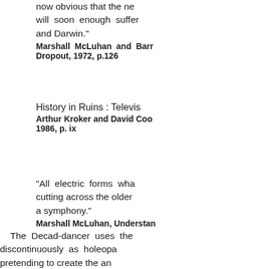now obvious that the ne will soon enough suffer and Darwin."
Marshall McLuhan and Barr Dropout, 1972, p.126
History in Ruins : Televis Arthur Kroker and David Coo 1986, p. ix
"All electric forms wha cutting across the older a symphony." Marshall McLuhan, Understan
The Decad-dancer uses the discontinuously as holeopа pretending to create the an